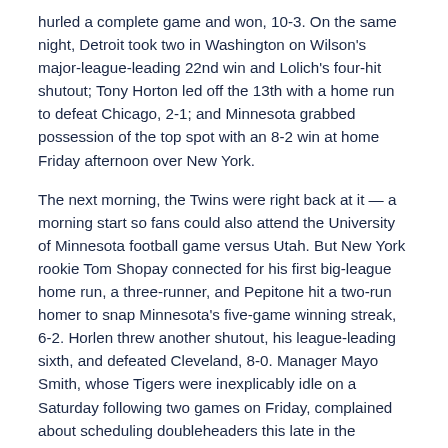hurled a complete game and won, 10-3. On the same night, Detroit took two in Washington on Wilson's major-league-leading 22nd win and Lolich's four-hit shutout; Tony Horton led off the 13th with a home run to defeat Chicago, 2-1; and Minnesota grabbed possession of the top spot with an 8-2 win at home Friday afternoon over New York.
The next morning, the Twins were right back at it — a morning start so fans could also attend the University of Minnesota football game versus Utah. But New York rookie Tom Shopay connected for his first big-league home run, a three-runner, and Pepitone hit a two-run homer to snap Minnesota's five-game winning streak, 6-2. Horlen threw another shutout, his league-leading sixth, and defeated Cleveland, 8-0. Manager Mayo Smith, whose Tigers were inexplicably idle on a Saturday following two games on Friday, complained about scheduling doubleheaders this late in the season. He also said Wilson and Lolich would go on two days rest on Monday and Tuesday.
The Red Sox lost in Baltimore on Brooks Robinson's two-run home run and dropped to third place, one-half